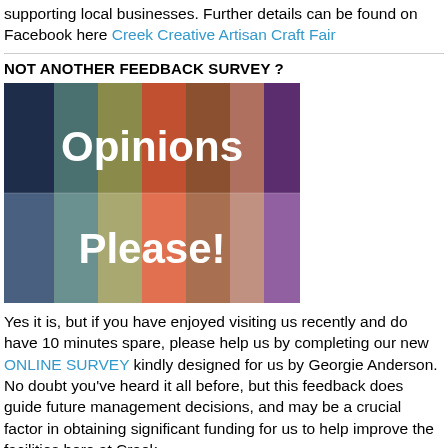supporting local businesses. Further details can be found on Facebook here Creek Creative Artisan Craft Fair
NOT ANOTHER FEEDBACK SURVEY ?
[Figure (illustration): Colorful vertical stripe graphic with text 'Opinions Please!' on a multi-colored striped background including dark navy, teal, olive, orange-red, brown, and purple stripes.]
Yes it is, but if you have enjoyed visiting us recently and do have 10 minutes spare, please help us by completing our new ONLINE SURVEY kindly designed for us by Georgie Anderson. No doubt you've heard it all before, but this feedback does guide future management decisions, and may be a crucial factor in obtaining significant funding for us to help improve the facilities here at Creek.